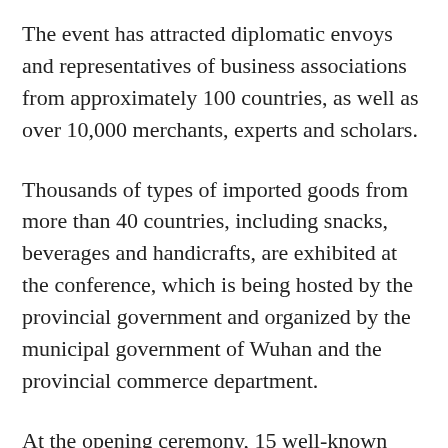The event has attracted diplomatic envoys and representatives of business associations from approximately 100 countries, as well as over 10,000 merchants, experts and scholars.
Thousands of types of imported goods from more than 40 countries, including snacks, beverages and handicrafts, are exhibited at the conference, which is being hosted by the provincial government and organized by the municipal government of Wuhan and the provincial commerce department.
At the opening ceremony, 15 well-known enterprises and institutions from across the country signed a proposal to support the construction of a national trade logistics center in Wuhan.